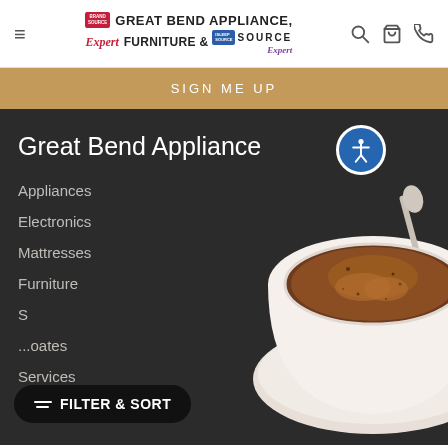[Figure (logo): Great Bend Appliance, Furniture & Sleep Source logo with Brand Source badge and Expert script text]
SIGN ME UP
Great Bend Appliance
Appliances
Electronics
Mattresses
Furniture
S...oates
Services
FILTER & SORT
[Figure (photo): Top-down view of a cappuccino or espresso in a white cup and saucer with a spoon]